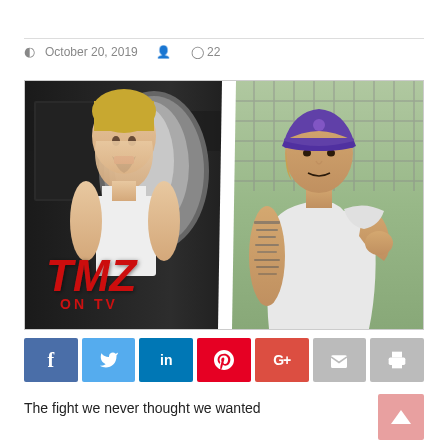October 20, 2019   22
[Figure (photo): Split image showing two men side by side separated by a diagonal white line. Left side shows a blonde muscular man in a white tank top with mouth open, with TMZ ON TV logo overlay. Right side shows Justin Bieber wearing a purple baseball cap and white sleeveless hoodie, showing tattoos on his arms.]
The fight we never thought we wanted